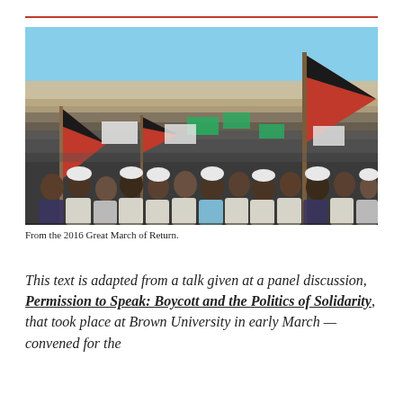[Figure (photo): A large crowd of people marching, many waving Palestinian flags (black, white, green and red), under a clear blue sky with sandy terrain in the background. From the 2016 Great March of Return.]
From the 2016 Great March of Return.
This text is adapted from a talk given at a panel discussion, Permission to Speak: Boycott and the Politics of Solidarity, that took place at Brown University in early March — convened for the launch of the volume Parameter Booklets...